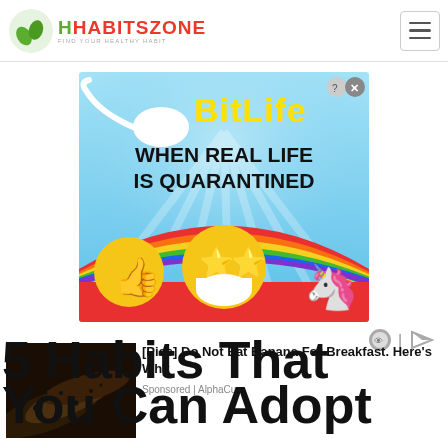HHABITSZONE - FIND YOUR HEALTHY HABIT
[Figure (screenshot): BitLife advertisement banner: blue background with sperm emoji, 'BitLife' yellow text logo, text 'WHEN REAL LIFE IS QUARANTINED', rainbow with star-eyes face mask emoji and unicorn emoji]
[Figure (photo): Photo of dark spotted bananas on dark background, sponsored content thumbnail]
[Pics] Do Not Eat Banana For Breakfast. Here's Why
Sponsored | AlphaCure
5 Habits That You Can Adopt (partial)